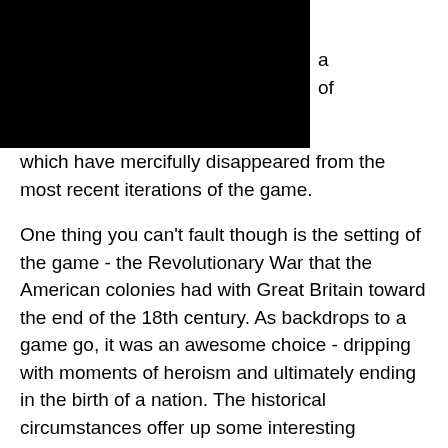[Figure (other): Black header bar covering top-left portion of the page, with a hamburger menu icon in the top-right corner]
which have mercifully disappeared from the most recent iterations of the game.

One thing you can't fault though is the setting of the game - the Revolutionary War that the American colonies had with Great Britain toward the end of the 18th century. As backdrops to a game go, it was an awesome choice - dripping with moments of heroism and ultimately ending in the birth of a nation. The historical circumstances offer up some interesting gameplay opportunities. Paul Revere's midnight ride is the basis for one mission, while another sees you running across the battlefield during the Battle of Bunker Hill, with artillery and